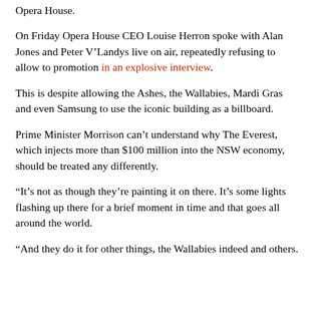Opera House.
On Friday Opera House CEO Louise Herron spoke with Alan Jones and Peter V'Landys live on air, repeatedly refusing to allow to promotion in an explosive interview.
This is despite allowing the Ashes, the Wallabies, Mardi Gras and even Samsung to use the iconic building as a billboard.
Prime Minister Morrison can't understand why The Everest, which injects more than $100 million into the NSW economy, should be treated any differently.
“It’s not as though they’re painting it on there. It’s some lights flashing up there for a brief moment in time and that goes all around the world.
“And they do it for other things, the Wallabies indeed and others.